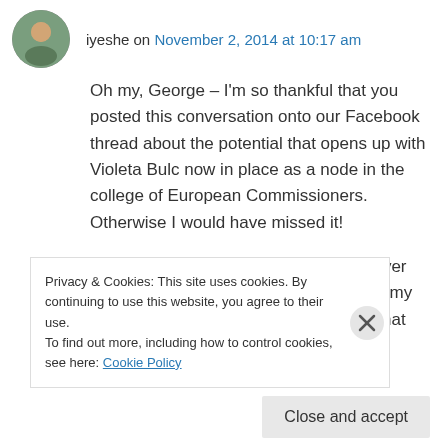[Figure (photo): Circular avatar photo of a person outdoors]
iyeshe on November 2, 2014 at 10:17 am
Oh my, George – I'm so thankful that you posted this conversation onto our Facebook thread about the potential that opens up with Violeta Bulc now in place as a node in the college of European Commissioners. Otherwise I would have missed it!
I remember the days we used to mull over our collective conversations together at my kitchen table in Brussels – practicing what you plead for
Privacy & Cookies: This site uses cookies. By continuing to use this website, you agree to their use.
To find out more, including how to control cookies, see here: Cookie Policy
Close and accept